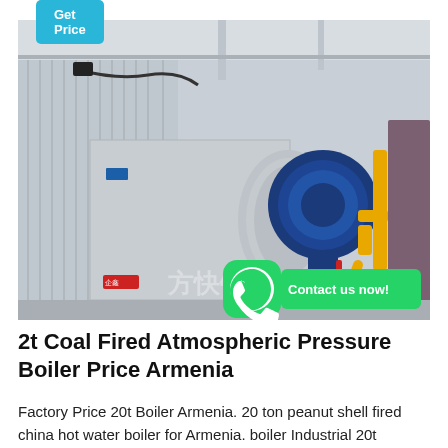[Figure (photo): Industrial coal fired atmospheric pressure boiler in a factory setting. Large silver/grey cylindrical boiler body with a blue gas burner assembly attached. Yellow gas pipes visible on the right. Chinese watermark text visible in lower right of image. WhatsApp contact icon and green 'Contact us now!' button overlaid at bottom right.]
2t Coal Fired Atmospheric Pressure Boiler Price Armenia
Factory Price 20t Boiler Armenia. 20 ton peanut shell fired china hot water boiler for Armenia. boiler Industrial 20t